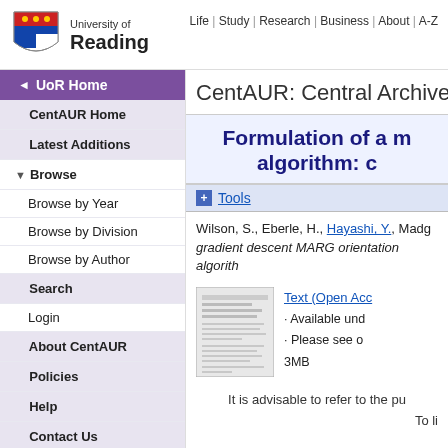Life | Study | Research | Business | About | A-Z
[Figure (logo): University of Reading shield logo with text 'University of Reading']
CentAUR: Central Archive at
Formulation of a m algorithm: c
UoR Home
CentAUR Home
Latest Additions
Browse
Browse by Year
Browse by Division
Browse by Author
Search
Login
About CentAUR
Policies
Help
Contact Us
Wilson, S., Eberle, H., Hayashi, Y., Madg... gradient descent MARG orientation algorith...
[Figure (screenshot): Thumbnail image of a document/paper]
Text (Open Acc · Available und · Please see o 3MB
It is advisable to refer to the pu
To li